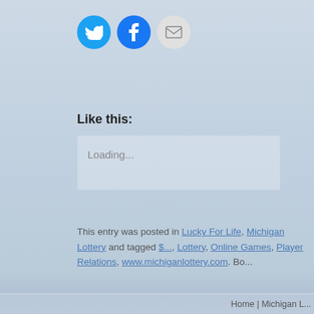[Figure (other): Social sharing buttons: Twitter (blue circle with bird icon), Facebook (blue circle with f icon), Email (gray circle with envelope icon)]
Like this:
Loading...
This entry was posted in Lucky For Life, Michigan Lottery and tagged $..., Lottery, Online Games, Player Relations, www.michiganlottery.com. Bo...
← Wayne County Man Wins $335,956 Fantasy 5 Jackpot from the Michigan Lottery
Grand Rapids E... Award and $1...
Home | Michigan L... Mega Mi...